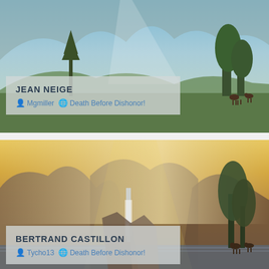[Figure (photo): Landscape painting with lake, mountains and deer, overlaid with semi-transparent info panel showing 'JEAN NEIGE', user Mgmiller, group Death Before Dishonor!]
JEAN NEIGE
Mgmiller  Death Before Dishonor!
[Figure (photo): Mountain valley landscape painting with waterfall, golden misty light, overlaid with semi-transparent info panel showing 'BERTRAND CASTILLON', user Tycho13, group Death Before Dishonor!]
BERTRAND CASTILLON
Tycho13  Death Before Dishonor!